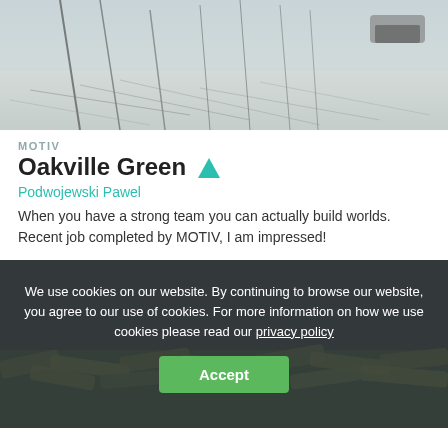[Figure (photo): Aerial winter photo showing bare trees casting shadows on snow-covered ground with a car visible in the upper right corner]
MOTIV
Oakville Green ▲
Podwojewski Pawel
When you have a strong team you can actually build worlds. Recent job completed by MOTIV, I am impressed!
[Figure (photo): Second photo showing a dark top half (black) and green/yellow tropical leaves in the lower half]
We use cookies on our website. By continuing to browse our website, you agree to our use of cookies. For more information on how we use cookies please read our privacy policy
Accept